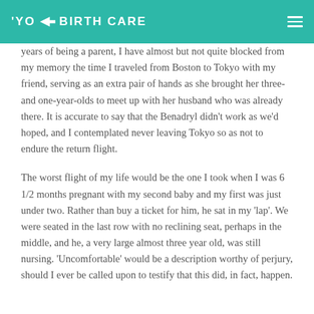YO BIRTH CARE
years of being a parent, I have almost but not quite blocked from my memory the time I traveled from Boston to Tokyo with my friend, serving as an extra pair of hands as she brought her three- and one-year-olds to meet up with her husband who was already there. It is accurate to say that the Benadryl didn't work as we'd hoped, and I contemplated never leaving Tokyo so as not to endure the return flight.
The worst flight of my life would be the one I took when I was 6 1/2 months pregnant with my second baby and my first was just under two. Rather than buy a ticket for him, he sat in my 'lap'. We were seated in the last row with no reclining seat, perhaps in the middle, and he, a very large almost three year old, was still nursing. 'Uncomfortable' would be a description worthy of perjury, should I ever be called upon to testify that this did, in fact, happen.